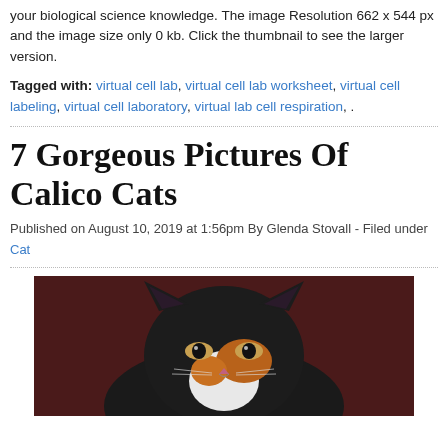your biological science knowledge. The image Resolution 662 x 544 px and the image size only 0 kb. Click the thumbnail to see the larger version.
Tagged with: virtual cell lab, virtual cell lab worksheet, virtual cell labeling, virtual cell laboratory, virtual lab cell respiration, .
7 Gorgeous Pictures Of Calico Cats
Published on August 10, 2019 at 1:56pm By Glenda Stovall - Filed under Cat
[Figure (photo): Close-up photo of a calico cat's face against a dark reddish-brown background. The cat has black, white, and orange fur with pointed ears visible.]